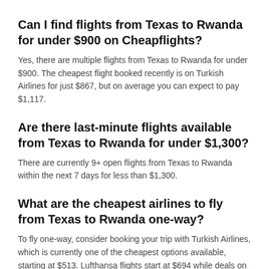Can I find flights from Texas to Rwanda for under $900 on Cheapflights?
Yes, there are multiple flights from Texas to Rwanda for under $900. The cheapest flight booked recently is on Turkish Airlines for just $867, but on average you can expect to pay $1,117.
Are there last-minute flights available from Texas to Rwanda for under $1,300?
There are currently 9+ open flights from Texas to Rwanda within the next 7 days for less than $1,300.
What are the cheapest airlines to fly from Texas to Rwanda one-way?
To fly one-way, consider booking your trip with Turkish Airlines, which is currently one of the cheapest options available, starting at $513. Lufthansa flights start at $694 while deals on KLM start at $773 one-way.